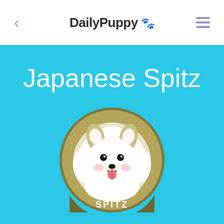DailyPuppy 🐾
Japanese Spitz
[Figure (illustration): Circular illustration of a Japanese Spitz dog with white fluffy fur, pink ears, happy expression with tongue out, on an olive/khaki circular background with 'SPITZ' text at the bottom.]